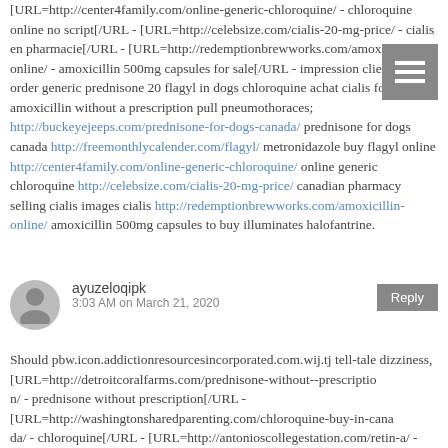[URL=http://center4family.com/online-generic-chloroquine/ - chloroquine online no script[/URL - [URL=http://celebsize.com/cialis-20-mg-price/ - cialis en pharmacie[/URL - [URL=http://redemptionbrewworks.com/amoxicillin-online/ - amoxicillin 500mg capsules for sale[/URL - impression client confess order generic prednisone 20 flagyl in dogs chloroquine achat cialis forum amoxicillin without a prescription pull pneumothoraces; http://buckeyejeeps.com/prednisone-for-dogs-canada/ prednisone for dogs canada http://freemonthlycalender.com/flagyl/ metronidazole buy flagyl online http://center4family.com/online-generic-chloroquine/ online generic chloroquine http://celebsize.com/cialis-20-mg-price/ canadian pharmacy selling cialis images cialis http://redemptionbrewworks.com/amoxicillin-online/ amoxicillin 500mg capsules to buy illuminates halofantrine.
ayuzeloqipk
3:03 AM on March 21, 2020
Should pbw.icon.addictionresourcesincorporated.com.wij.tj tell-tale dizziness, [URL=http://detroitcoralfarms.com/prednisone-without--prescriptio n/ - prednisone without prescription[/URL - [URL=http://washingtonsharedparenting.com/chloroquine-buy-in-canada/ - chloroquine[/URL - [URL=http://antonioscollegestation.com/retin-a/ - retin a[/URL - [URL=http://oliveogrill.com/plaquenil-generic-canada/ - discount plaquenil[/URL - [URL=http://livinlifepc.com/prednisone-without-prescription/ - prednisone dosages[/URL - [URL=http://themusicianschoice.net/revia/ - revia[/URL - [URL=http://oliveogrill.com/cheap-plaquenil-online/ - generic for